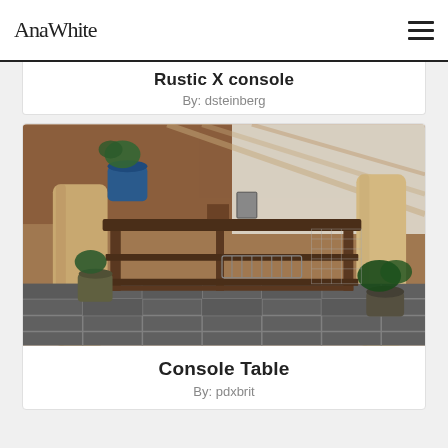AnaWhite
Rustic X console
By: dsteinberg
[Figure (photo): A rustic wooden console table with three shelves, placed in a log cabin interior with stone tile flooring, flanked by plant pots and log posts, with decorative items on the top shelf.]
Console Table
By: pdxbrit